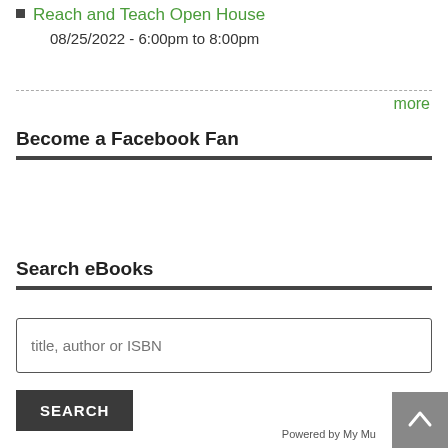Reach and Teach Open House
08/25/2022 - 6:00pm to 8:00pm
more
Become a Facebook Fan
Search eBooks
title, author or ISBN
SEARCH
Powered by My Mu